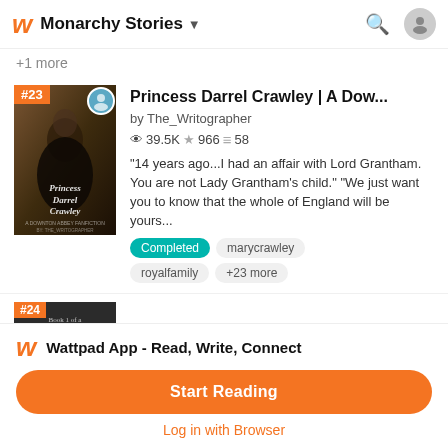Monarchy Stories
+1 more
Princess Darrel Crawley | A Dow...
by The_Writographer
39.5K ★ 966 ≡ 58
"14 years ago...I had an affair with Lord Grantham. You are not Lady Grantham's child." "We just want you to know that the whole of England will be yours...
Completed
marycrawley
royalfamily
+23 more
Elena & Frank: Self-Will
Wattpad App - Read, Write, Connect
Start Reading
Log in with Browser